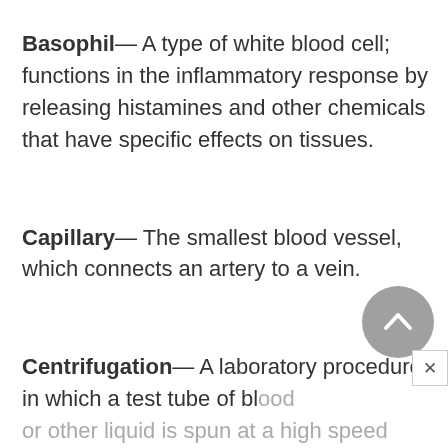Basophil— A type of white blood cell; functions in the inflammatory response by releasing histamines and other chemicals that have specific effects on tissues.
Capillary— The smallest blood vessel, which connects an artery to a vein.
Centrifugation— A laboratory procedure in which a test tube of blood or other liquid is spun at a high speed to separate components of differing